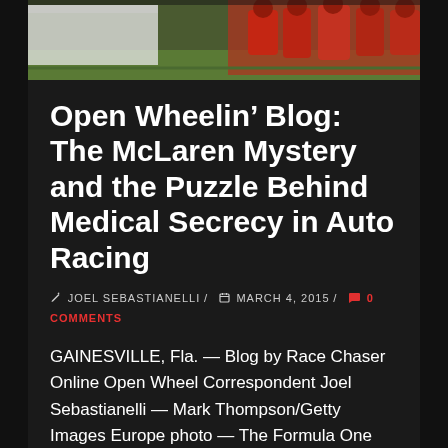[Figure (photo): Top portion of a photo showing people in red uniforms/clothing on grass, with a white vehicle visible on the left side. Photo credit: Mark Thompson/Getty Images Europe.]
Open Wheelin' Blog: The McLaren Mystery and the Puzzle Behind Medical Secrecy in Auto Racing
✏ JOEL SEBASTIANELLI / 📅 MARCH 4, 2015 / 💬 0 COMMENTS
GAINESVILLE, Fla. — Blog by Race Chaser Online Open Wheel Correspondent Joel Sebastianelli — Mark Thompson/Getty Images Europe photo — The Formula One season opening Australian Grand Prix is